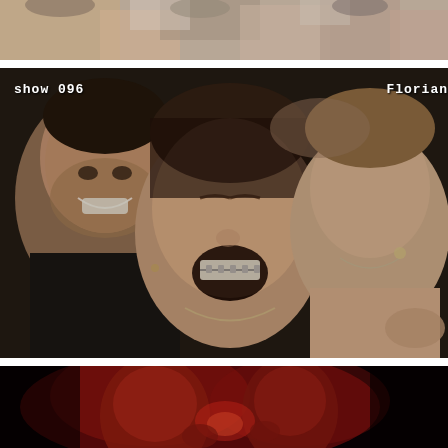[Figure (photo): Top strip: partial view of a crowd of people at a concert or show, upper bodies and faces, neutral/warm tones, cropped at top and bottom]
[Figure (photo): Middle large photo: close-up of a laughing/ecstatic woman in the center with mouth open wide, braces visible, eyes closed; a smiling man to her left; another person to her right; crowd setting; video overlay text 'show 096' top-left and 'Florian' top-right]
[Figure (photo): Bottom strip: red-tinted dark photo of a bald person or performer at a concert, dramatic red lighting, crowd visible]